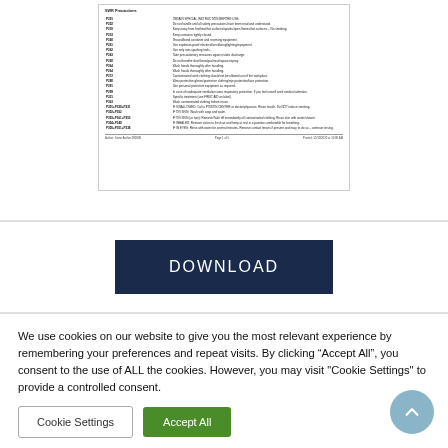[Figure (screenshot): Screenshot of a safety data sheet or similar regulatory document showing a table of precautionary statements (P-codes) with their descriptions, footer with author and page number.]
DOWNLOAD
We use cookies on our website to give you the most relevant experience by remembering your preferences and repeat visits. By clicking “Accept All”, you consent to the use of ALL the cookies. However, you may visit "Cookie Settings" to provide a controlled consent.
Cookie Settings
Accept All